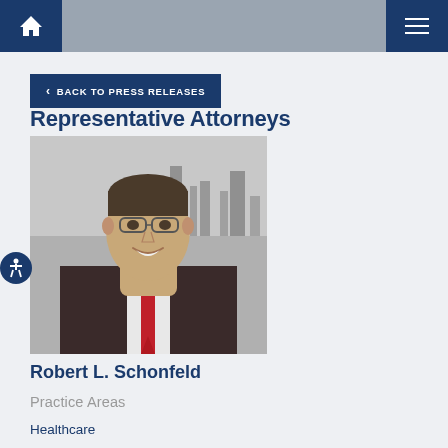Navigation bar with home icon and menu icon
< BACK TO PRESS RELEASES
Representative Attorneys
[Figure (photo): Professional headshot of Robert L. Schonfeld, a man in a dark suit with a red tie, smiling, with a city skyline in the background (black and white)]
Robert L. Schonfeld
Practice Areas
Healthcare